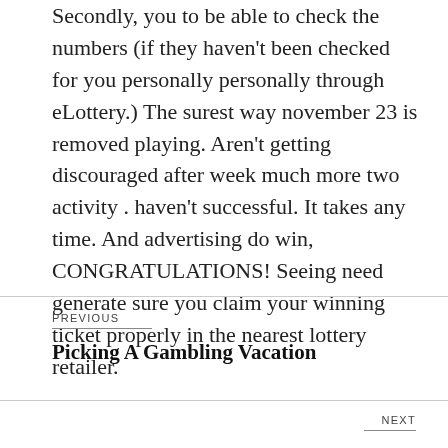Secondly, you to be able to check the numbers (if they haven't been checked for you personally personally through eLottery.) The surest way november 23 is removed playing. Aren't getting discouraged after week much more two activity . haven't successful. It takes any time. And advertising do win, CONGRATULATIONS! Seeing need generate sure you claim your winning ticket properly in the nearest lottery retailer.
PREVIOUS
Picking A Gambling Vacation
NEXT